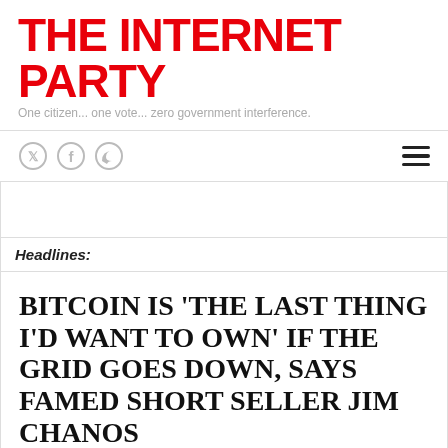THE INTERNET PARTY
One citizen... one vote... zero government interference.
[Figure (other): Navigation bar with Twitter, Facebook, RSS social icons on the left and a hamburger menu icon on the right]
Headlines:
BITCOIN IS ‘THE LAST THING I’D WANT TO OWN’ IF THE GRID GOES DOWN, SAYS FAMED SHORT SELLER JIM CHANOS